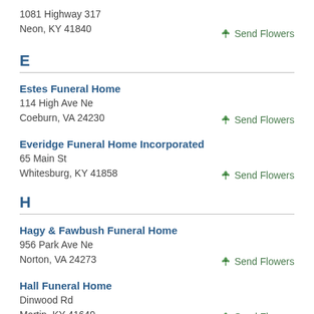1081 Highway 317
Neon, KY 41840
Send Flowers
E
Estes Funeral Home
114 High Ave Ne
Coeburn, VA 24230
Send Flowers
Everidge Funeral Home Incorporated
65 Main St
Whitesburg, KY 41858
Send Flowers
H
Hagy & Fawbush Funeral Home
956 Park Ave Ne
Norton, VA 24273
Send Flowers
Hall Funeral Home
Dinwood Rd
Martin, KY 41649
Send Flowers
J